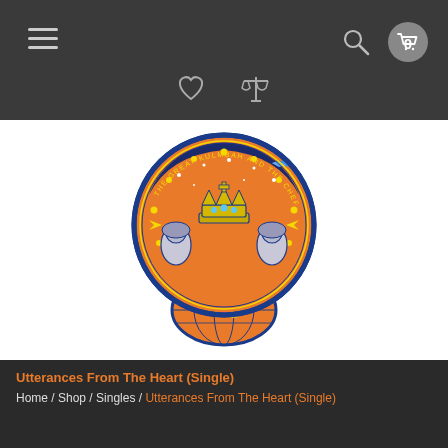≡  🔍  🛒 0
[Figure (illustration): Badge/emblem logo: circular orange badge with blue border, featuring a crown in the center, two figures on either side, stars, a spaceship/bird at the top, a globe at the bottom, and text reading 'THE GREAT KULMBAH AND THE CHEF HUSSARS' around the top arc.]
Utterances From The Heart (Single)
Home / Shop / Singles / Utterances From The Heart (Single)